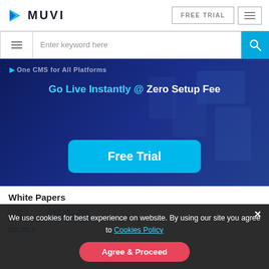MUVI — FREE TRIAL
[Figure (screenshot): Search bar with hamburger menu icon, text input 'Enter keyword here', and blue search button]
[Figure (screenshot): Hero banner with dark blue background showing 'One CMS for All Platforms', 'Go Live Instantly @ Zero Setup Fee', and a cyan 'Free Trial' button]
White Papers
[Figure (photo): Blog image placeholder labeled blog_opt_6]
Joint Str... ship
We use cookies for best experience on website. By using our site you agree to Cookies Policy
Agree & Proceed